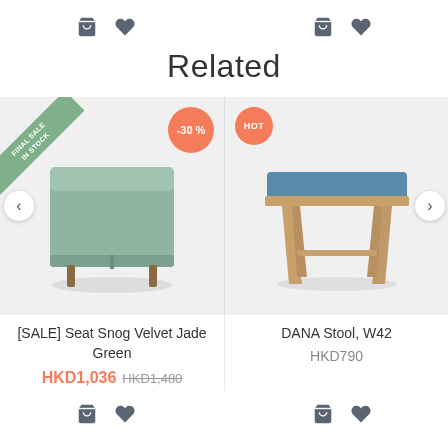[Figure (screenshot): Top icon row with shopping bag and heart icons for two products]
Related
[Figure (photo): Green velvet storage ottoman/seat with brass legs, showing FINAL SALE IN STOCK ribbon badge and -30% discount badge]
[Figure (photo): DANA Stool W42, wooden stool with blue upholstered seat, showing HOT badge]
[SALE] Seat Snog Velvet Jade Green
HKD1,036 HKD1,480
DANA Stool, W42
HKD790
[Figure (screenshot): Bottom icon row with shopping bag and heart icons for two products]